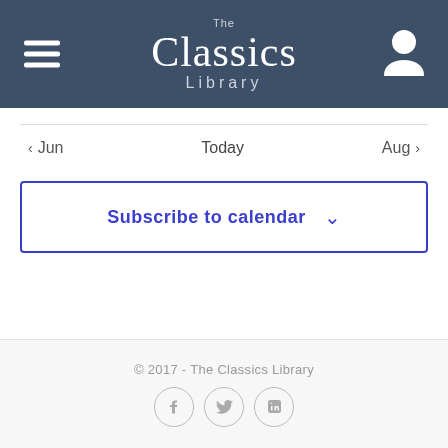The Classics Library — navigation header with hamburger menu and user icon
< Jun    Today    Aug >
Subscribe to calendar
© 2017 - The Classics Library